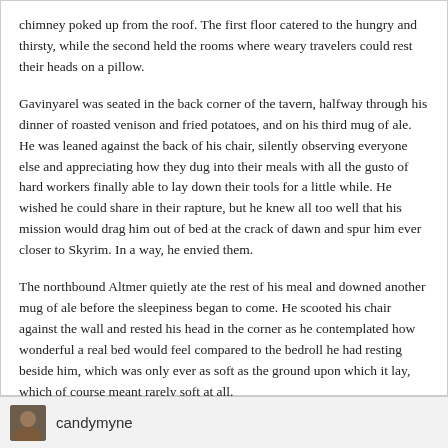chimney poked up from the roof.  The first floor catered to the hungry and thirsty, while the second held the rooms where weary travelers could rest their heads on a pillow.
Gavinyarel was seated in the back corner of the tavern, halfway through his dinner of roasted venison and fried potatoes, and on his third mug of ale.  He was leaned against the back of his chair, silently observing everyone else and appreciating how they dug into their meals with all the gusto of hard workers finally able to lay down their tools for a little while.  He wished he could share in their rapture, but he knew all too well that his mission would drag him out of bed at the crack of dawn and spur him ever closer to Skyrim.  In a way, he envied them.
The northbound Altmer quietly ate the rest of his meal and downed another mug of ale before the sleepiness began to come.  He scooted his chair against the wall and rested his head in the corner as he contemplated how wonderful a real bed would feel compared to the bedroll he had resting beside him, which was only ever as soft as the ground upon which it lay, which of course meant rarely soft at all.
Little did Gavinyarel know that things would soon get much more interesting.
candymyne